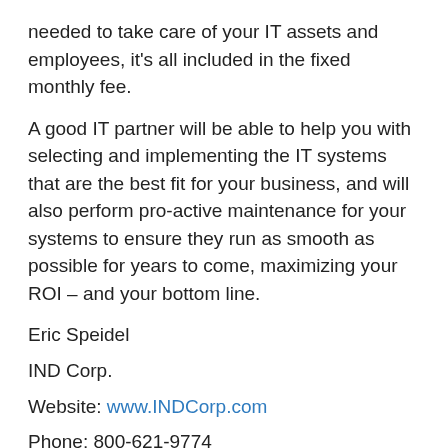needed to take care of your IT assets and employees, it's all included in the fixed monthly fee.
A good IT partner will be able to help you with selecting and implementing the IT systems that are the best fit for your business, and will also perform pro-active maintenance for your systems to ensure they run as smooth as possible for years to come, maximizing your ROI – and your bottom line.
Eric Speidel
IND Corp.
Website: www.INDCorp.com
Phone: 800-621-9774
5 Tips on Getting Your Pool Ready For Fun!
1. Start early! Don't wait for 80 degrees to take off the